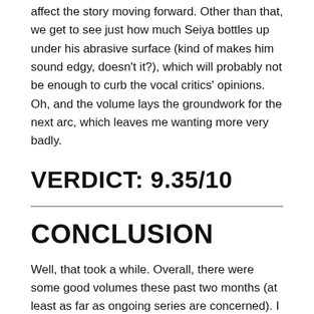affect the story moving forward. Other than that, we get to see just how much Seiya bottles up under his abrasive surface (kind of makes him sound edgy, doesn't it?), which will probably not be enough to curb the vocal critics' opinions. Oh, and the volume lays the groundwork for the next arc, which leaves me wanting more very badly.
VERDICT: 9.35/10
CONCLUSION
Well, that took a while. Overall, there were some good volumes these past two months (at least as far as ongoing series are concerned). I still wanted to cover The Eminence in Shadow and May These Leaden Battlegrounds Leave No Trace, but I ended up not meeting my budget for them.